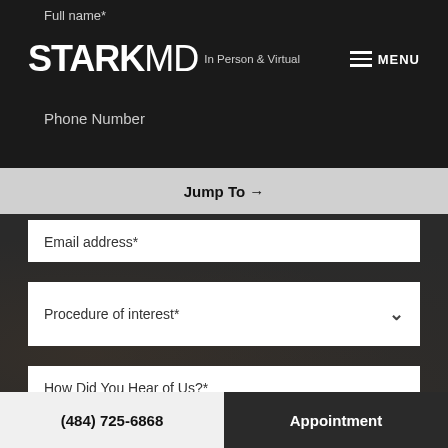Full name*
[Figure (screenshot): StarkMD website navigation header with logo, tagline 'In Person & Virtual', and MENU button]
Phone Number
Jump To →
Email address*
Procedure of interest*
How Did You Hear of Us?*
Best time to reach you
(484) 725-6868
Appointment